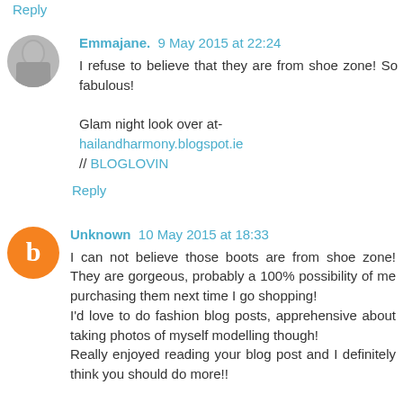Reply
Emmajane.  9 May 2015 at 22:24
I refuse to believe that they are from shoe zone! So fabulous!

Glam night look over at-
hailandharmony.blogspot.ie
// BLOGLOVIN
Reply
Unknown  10 May 2015 at 18:33
I can not believe those boots are from shoe zone! They are gorgeous, probably a 100% possibility of me purchasing them next time I go shopping!
I'd love to do fashion blog posts, apprehensive about taking photos of myself modelling though!
Really enjoyed reading your blog post and I definitely think you should do more!!